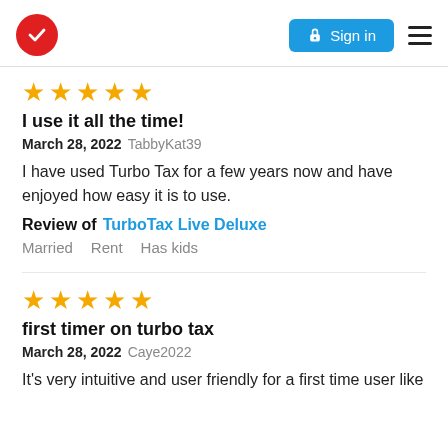TurboTax logo | Sign in | Menu
[Figure (other): Five gold star rating]
I use it all the time!
March 28, 2022 TabbyKat39
I have used Turbo Tax for a few years now and have enjoyed how easy it is to use.
Review of TurboTax Live Deluxe
Married  Rent  Has kids
[Figure (other): Five gold star rating]
first timer on turbo tax
March 28, 2022 Caye2022
It's very intuitive and user friendly for a first time user like